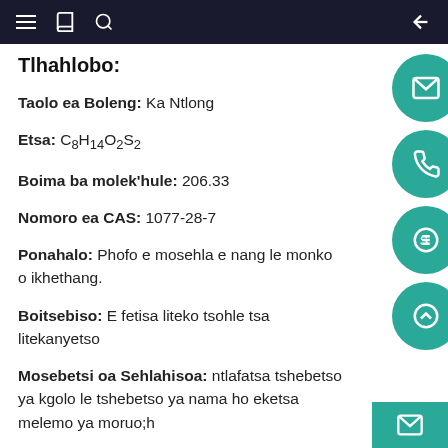Navigation bar with menu, book, search icons and back arrow
Tlhahlobo:
Taolo ea Boleng: Ka Ntlong
Etsa: C8H14O2S2
Boima ba molek'hule: 206.33
Nomoro ea CAS: 1077-28-7
Ponahalo: Phofo e mosehla e nang le monko o ikhethang.
Boitsebiso: E fetisa liteko tsohle tsa litekanyetso
Mosebetsi oa Sehlahisoa: ntlafatsa tshebetso ya kgolo le tshebetso ya nama ho eketsa melemo ya moruo;h